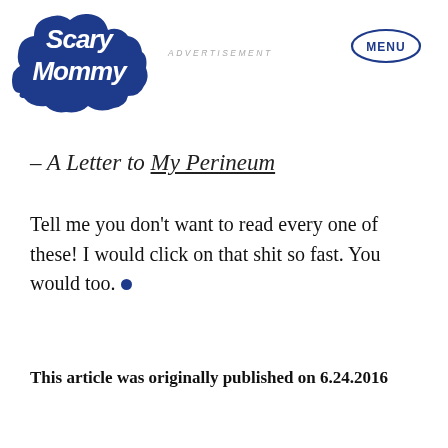Scary Mommy | ADVERTISEMENT | MENU
– A Letter to My Perineum
Tell me you don't want to read every one of these! I would click on that shit so fast. You would too.
This article was originally published on 6.24.2016